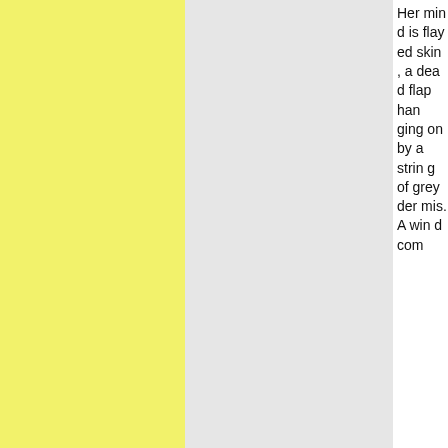[Figure (other): Yellow textured panel on the left third of the page]
[Figure (other): Gray panel in the middle third of the page]
Her mind is flayed skin, a dead flap hanging on by a string of grey dermis. A wind com